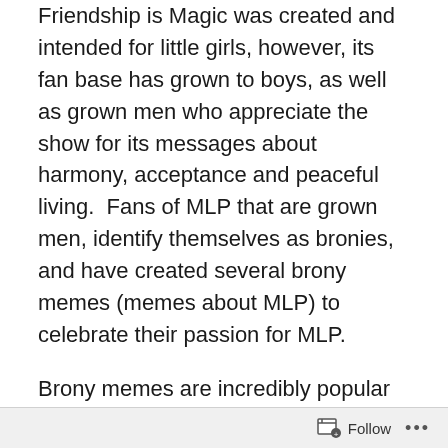Friendship is Magic was created and intended for little girls, however, its fan base has grown to boys, as well as grown men who appreciate the show for its messages about harmony, acceptance and peaceful living.  Fans of MLP that are grown men, identify themselves as bronies, and have created several brony memes (memes about MLP) to celebrate their passion for MLP.
Brony memes are incredibly popular on the Internet. They function as transmitters of culture because they illustrate a type of social activism by challenging what constitutes masculinity. Brony memes are created by, and intended for all kinds of audiences. These memes push social boundaries because they challenge the perception of what is supposed to be masculine and feminine by creating a meme fanbase that is inclusive, exemplifying that cute,
Follow